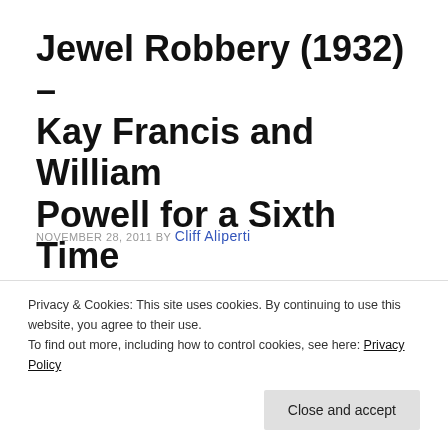Jewel Robbery (1932) – Kay Francis and William Powell for a Sixth Time
NOVEMBER 28, 2011 BY Cliff Aliperti
5 Comments
[Figure (photo): Black and white film still showing a woman's face in close-up]
A look at Jewel Robbery (1932), a unique heist-romance from Warner Brothers starring William
Privacy & Cookies: This site uses cookies. By continuing to use this website, you agree to their use.
To find out more, including how to control cookies, see here: Privacy Policy
Close and accept